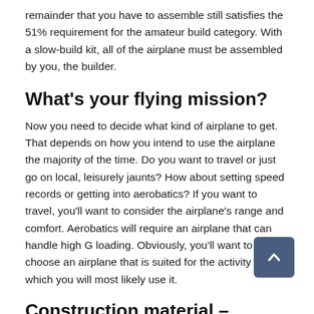remainder that you have to assemble still satisfies the 51% requirement for the amateur build category. With a slow-build kit, all of the airplane must be assembled by you, the builder.
What's your flying mission?
Now you need to decide what kind of airplane to get. That depends on how you intend to use the airplane the majority of the time. Do you want to travel or just go on local, leisurely jaunts? How about setting speed records or getting into aerobatics? If you want to travel, you'll want to consider the airplane's range and comfort. Aerobatics will require an airplane that can handle high G loading. Obviously, you'll want to choose an airplane that is suited for the activity for which you will most likely use it.
Construction material – what's